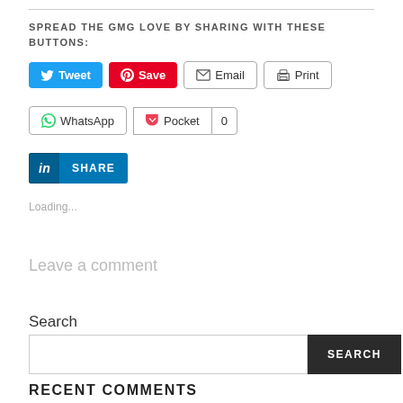SPREAD THE GMG LOVE BY SHARING WITH THESE BUTTONS:
[Figure (screenshot): Social sharing buttons: Tweet (blue), Save/Pinterest (red), Email (outline), Print (outline), WhatsApp (outline), Pocket (outline with count 0), LinkedIn Share (blue)]
Loading...
Leave a comment
Search
RECENT COMMENTS